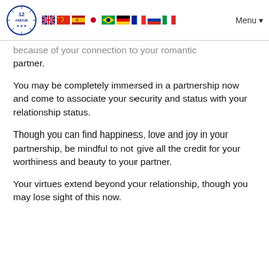[Logo: 12 Andub] [Flags: UK, China, Spain, Japan, Brazil, Germany, France, Russia, Italy] Menu
because of your connection to your romantic partner.
You may be completely immersed in a partnership now and come to associate your security and status with your relationship status.
Though you can find happiness, love and joy in your partnership, be mindful to not give all the credit for your worthiness and beauty to your partner.
Your virtues extend beyond your relationship, though you may lose sight of this now.